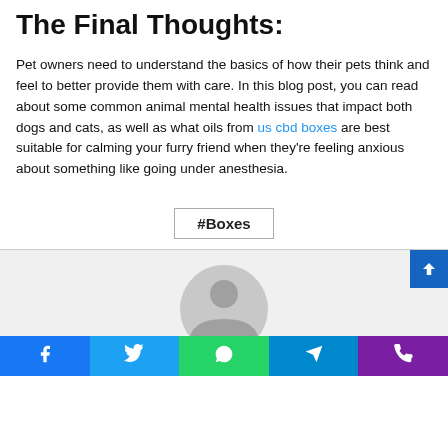The Final Thoughts:
Pet owners need to understand the basics of how their pets think and feel to better provide them with care. In this blog post, you can read about some common animal mental health issues that impact both dogs and cats, as well as what oils from us cbd boxes are best suitable for calming your furry friend when they're feeling anxious about something like going under anesthesia.
#Boxes
[Figure (illustration): Circular avatar placeholder icon in gray on light gray background]
[Figure (infographic): Social media share bar with Facebook, Twitter, WhatsApp, Telegram, and Phone icons]